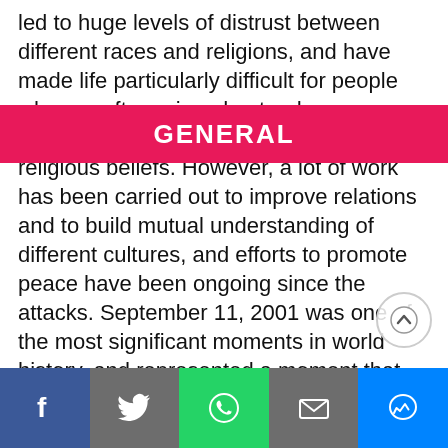led to huge levels of distrust between different races and religions, and have made life particularly difficult for people who are often misunderstood discriminated against because of their religious beliefs. However, a lot of work has been carried out to improve relations and to build mutual understanding of different cultures, and efforts to promote peace have been ongoing since the attacks. September 11, 2001 was one of the most significant moments in world history, and represented a moment that no one could possibly forget. Gulf Times spoke to a number of residents in Qatar to ask where they were when they heard the news, how they remembered events unfolding, and how they feel the events of 10 years ago have changed the world. “I remember watching the news on the day and just being in complete shock,” said British expatriate Tim, adding “it was unbelievable like something out of a Hollywood blockbuster.” “The pictures were horrifying
GENERAL
EDUCATION | f | Twitter | WhatsApp | Email | Messenger